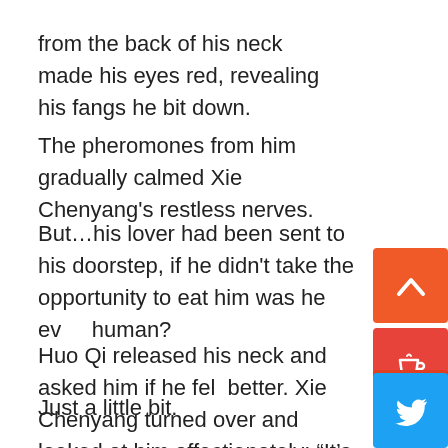from the back of his neck made his eyes red, revealing his fangs he bit down.
The pheromones from him gradually calmed Xie Chenyang's restless nerves.
But…his lover had been sent to his doorstep, if he didn't take the opportunity to eat him was he even human?
Huo Qi released his neck and asked him if he felt better. Xie Chenyang turned over and looked at him affectionately: “It’s a little better.”
Just a little bit.